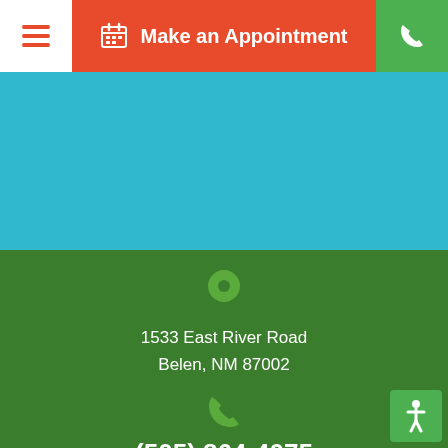Make an Appointment
[Figure (screenshot): Cyan/blue hero image section placeholder]
1533 East River Road
Belen, NM 87002
(505) 864-4075